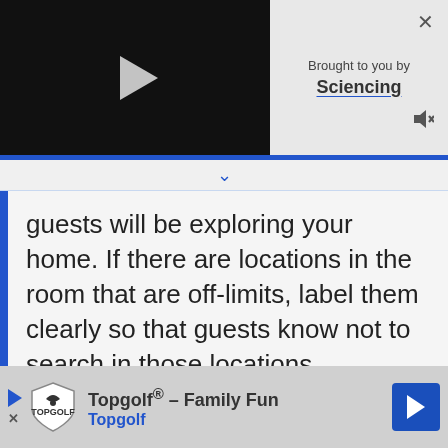[Figure (screenshot): Video player with play button on dark background]
Brought to you by Sciencing
guests will be exploring your home. If there are locations in the room that are off-limits, label them clearly so that guests know not to search in those locations.
[Figure (screenshot): Advertisement banner: Topgolf® - Family Fun, Topgolf]